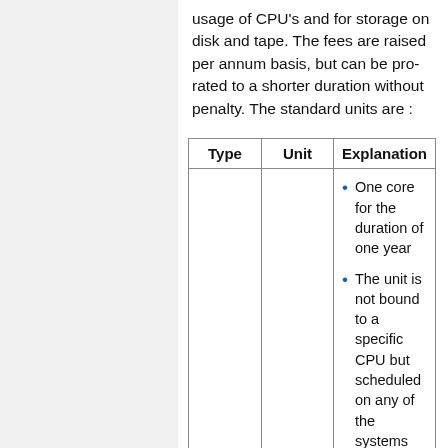usage of CPU's and for storage on disk and tape. The fees are raised per annum basis, but can be pro-rated to a shorter duration without penalty. The standard units are :
| Type | Unit | Explanation |
| --- | --- | --- |
|  |  | • One core for the duration of one year
• The unit is not bound to a specific CPU but scheduled on any of the systems on the Frontenac cluster
• A ... |